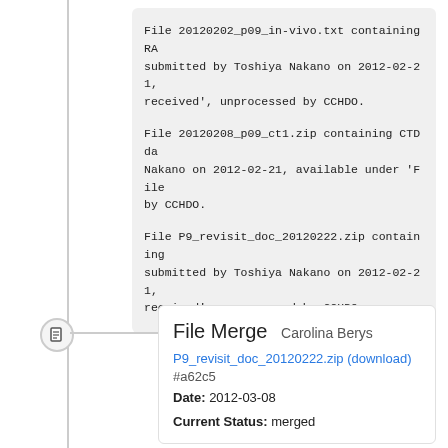File 20120202_p09_in-vivo.txt containing RA submitted by Toshiya Nakano on 2012-02-21, received', unprocessed by CCHDO.

File 20120208_p09_ct1.zip containing CTD da Nakano on 2012-02-21, available under 'File by CCHDO.

File P9_revisit_doc_20120222.zip containing submitted by Toshiya Nakano on 2012-02-21, received', unprocessed by CCHDO.
File Merge  Carolina Berys
P9_revisit_doc_20120222.zip (download) #a62c5
Date: 2012-03-08
Current Status: merged